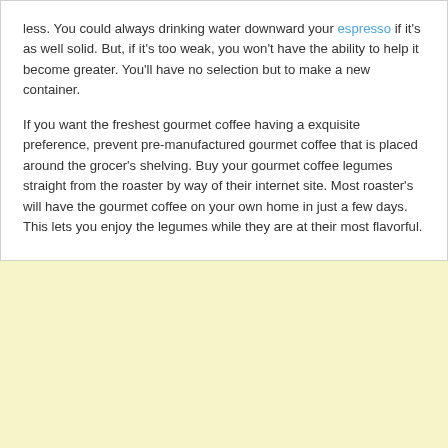less. You could always drinking water downward your espresso if it's as well solid. But, if it's too weak, you won't have the ability to help it become greater. You'll have no selection but to make a new container.
If you want the freshest gourmet coffee having a exquisite preference, prevent pre-manufactured gourmet coffee that is placed around the grocer's shelving. Buy your gourmet coffee legumes straight from the roaster by way of their internet site. Most roaster's will have the gourmet coffee on your own home in just a few days. This lets you enjoy the legumes while they are at their most flavorful.